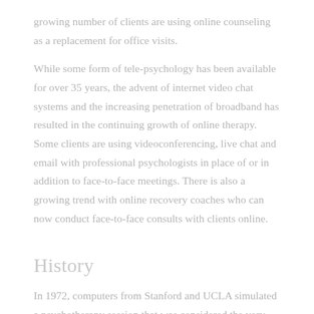growing number of clients are using online counseling as a replacement for office visits.
While some form of tele-psychology has been available for over 35 years, the advent of internet video chat systems and the increasing penetration of broadband has resulted in the continuing growth of online therapy. Some clients are using videoconferencing, live chat and email with professional psychologists in place of or in addition to face-to-face meetings. There is also a growing trend with online recovery coaches who can now conduct face-to-face consults with clients online.
History
In 1972, computers from Stanford and UCLA simulated a psychotherapy session that was considered the very beginning of online counseling. At the time the internet went public,[further explanation needed] this launch went hand in hand with the development of the first self-help groups on the internet who